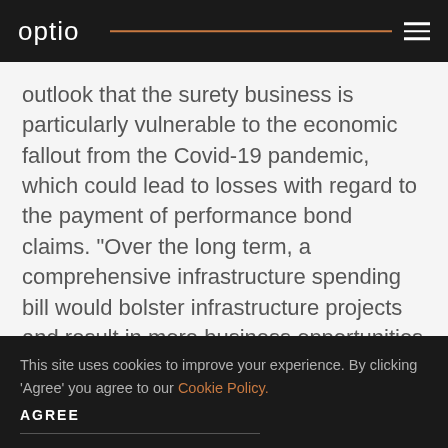optio
outlook that the surety business is particularly vulnerable to the economic fallout from the Covid-19 pandemic, which could lead to losses with regard to the payment of performance bond claims. “Over the long term, a comprehensive infrastructure spending bill would bolster infrastructure projects and result in more business opportunities for the surety companies,” Best noted.
This site uses cookies to improve your experience. By clicking ‘Agree’ you agree to our Cookie Policy. AGREE